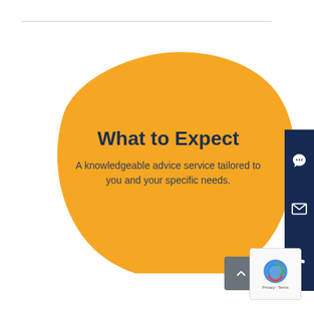[Figure (illustration): A large amber/golden organic blob shape containing bold title text 'What to Expect' and descriptive text about a knowledgeable advice service]
What to Expect
A knowledgeable advice service tailored to you and your specific needs.